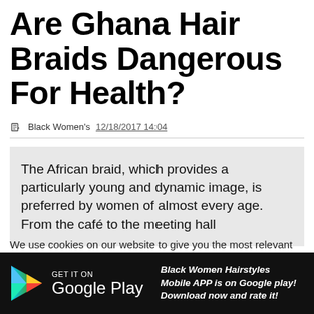Are Ghana Hair Braids Dangerous For Health?
Black Women's  12/18/2017 14:04
The African braid, which provides a particularly young and dynamic image, is preferred by women of almost every age. From the café to the meeting hall
We use cookies on our website to give you the most relevant experience by remembering your preferences and repeat visits. By clicking "Accept All", you consen
X CLOSE
[Figure (screenshot): Google Play banner with play store logo, GET IT ON Google Play text, and promotional tagline: Black Women Hairstyles Mobile APP is on Google play! Download now and rate it!]